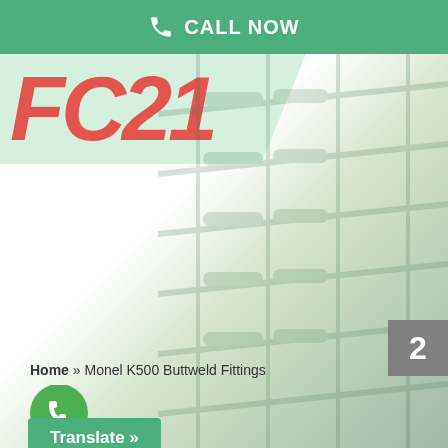CALL NOW
[Figure (logo): Partial red italic company logo text on light green background, cropped]
[Figure (photo): Background image of industrial warehouse shelving, faded/ghosted]
2
Home » Monel K500 Buttweld Fittings
[Figure (logo): Green WhatsApp phone icon button]
Translate »